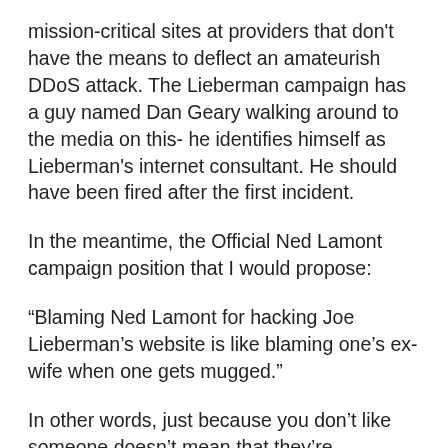mission-critical sites at providers that don't have the means to deflect an amateurish DDoS attack. The Lieberman campaign has a guy named Dan Geary walking around to the media on this- he identifies himself as Lieberman's internet consultant. He should have been fired after the first incident.
In the meantime, the Official Ned Lamont campaign position that I would propose:
“Blaming Ned Lamont for hacking Joe Lieberman’s website is like blaming one’s ex-wife when one gets mugged.”
In other words, just because you don’t like someone doesn’t mean that they’re responsible for everything that goes wrong in your life. There are a lot of people who